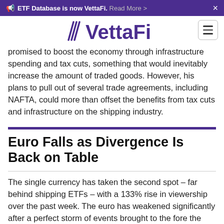ETF Database is now VettaFi. Read More >
[Figure (logo): VettaFi logo in purple with stylized V lines, hamburger menu icon on the right]
promised to boost the economy through infrastructure spending and tax cuts, something that would inevitably increase the amount of traded goods. However, his plans to pull out of several trade agreements, including NAFTA, could more than offset the benefits from tax cuts and infrastructure on the shipping industry.
Euro Falls as Divergence Is Back on Table
The single currency has taken the second spot – far behind shipping ETFs – with a 133% rise in viewership over the past week. The euro has weakened significantly after a perfect storm of events brought to the fore the monetary divergence between...